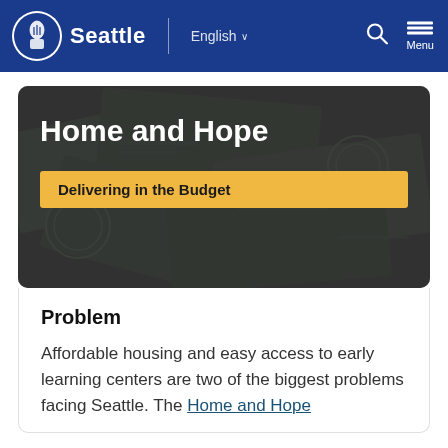Seattle | English  🔍 Menu
[Figure (screenshot): Hero banner image with darkened money/dollar bills background showing title 'Home and Hope' and yellow badge 'Delivering in the Budget']
Home and Hope
Delivering in the Budget
Problem
Affordable housing and easy access to early learning centers are two of the biggest problems facing Seattle. The Home and Hope